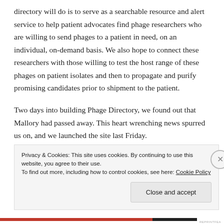directory will do is to serve as a searchable resource and alert service to help patient advocates find phage researchers who are willing to send phages to a patient in need, on an individual, on-demand basis. We also hope to connect these researchers with those willing to test the host range of these phages on patient isolates and then to propagate and purify promising candidates prior to shipment to the patient.
Two days into building Phage Directory, we found out that Mallory had passed away. This heart wrenching news spurred us on, and we launched the site last Friday.
Privacy & Cookies: This site uses cookies. By continuing to use this website, you agree to their use.
To find out more, including how to control cookies, see here: Cookie Policy
Close and accept